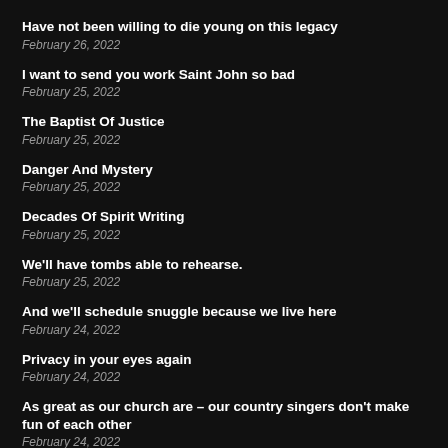Have not been willing to die young on this legacy
February 26, 2022
I want to send you work Saint John so bad
February 25, 2022
The Baptist Of Justice
February 25, 2022
Danger And Mystery
February 25, 2022
Decades Of Spirit Writing
February 25, 2022
We'll have tombs able to rehearse.
February 25, 2022
And we'll schedule snuggle because we live here
February 24, 2022
Privacy in your eyes again
February 24, 2022
As great as our church are – our country singers don't make fun of each other
February 24, 2022